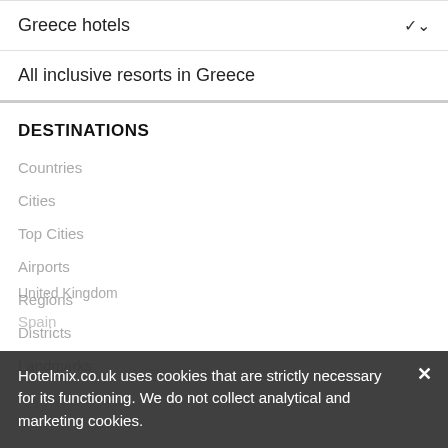Greece hotels
All inclusive resorts in Greece
DESTINATIONS
Countries
Cities
Top Cities
Airports
Regions
Districts
Landmarks
United Kingdom
Spain
Hotelmix.co.uk uses cookies that are strictly necessary for its functioning. We do not collect analytical and marketing cookies.